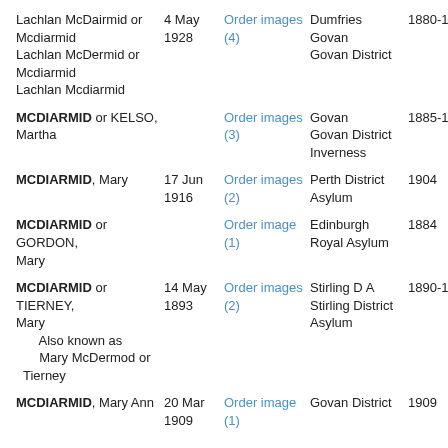| Name | Date | Order Images | Place | Year |
| --- | --- | --- | --- | --- |
| Lachlan McDairmid or Mcdiarmid
Lachlan McDermid or Mcdiarmid
Lachlan Mcdiarmid | 4 May 1928 | Order images (4) | Dumfries
Govan
Govan District | 1880-1898 |
| MCDIARMID or KELSO, Martha |  | Order images (3) | Govan
Govan District
Inverness | 1885-1895 |
| MCDIARMID, Mary | 17 Jun 1916 | Order images (2) | Perth District Asylum | 1904 |
| MCDIARMID or GORDON, Mary |  | Order image (1) | Edinburgh Royal Asylum | 1884 |
| MCDIARMID or TIERNEY, Mary
  Also known as
  Mary McDermod or Tierney | 14 May 1893 | Order images (2) | Stirling D A
Stirling District Asylum | 1890-1893 |
| MCDIARMID, Mary Ann | 20 Mar 1909 | Order image (1) | Govan District | 1909 |